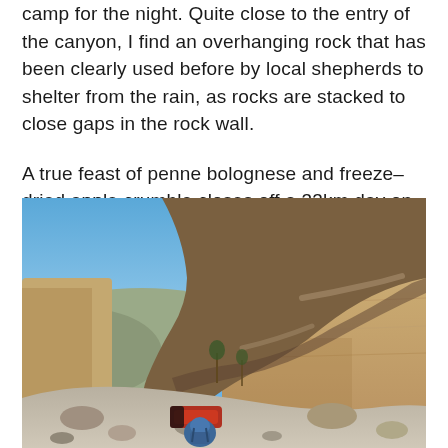camp for the night. Quite close to the entry of the canyon, I find an overhanging rock that has been clearly used before by local shepherds to shelter from the rain, as rocks are stacked to close gaps in the rock wall.

A true feast of penne bolognese and freeze-dried apple crumble closes off a 33km day on the trail.
[Figure (photo): A large overhanging sandstone rock formation in a canyon landscape under a blue sky. Below the overhang, a red tent or sleeping mat and a blue backpack are visible among rocks and boulders on the ground. The rock wall shows layered sedimentary patterns. Hills and sparse vegetation are visible in the background.]